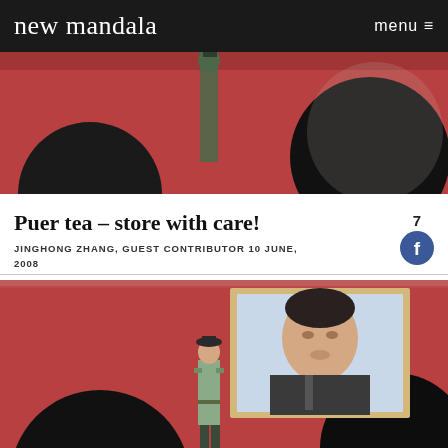new mandala  menu
[Figure (photo): Top partial photo of Tiananmen Gate with red walls, circular arched openings, and a guard visible, cropped to show upper portion]
Puer tea – store with care!
JINGHONG ZHANG, GUEST CONTRIBUTOR 10 JUNE, 2008
[Figure (photo): Photo of a Chinese soldier/guard in uniform standing at attention below the large Mao Zedong portrait at Tiananmen Gate, Beijing. The red gate wall and circular arch openings are visible.]